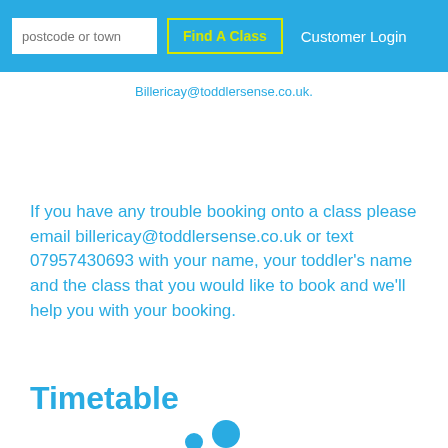postcode or town | Find A Class | Customer Login
Billericay@toddlersense.co.uk.
If you have any trouble booking onto a class please email billericay@toddlersense.co.uk or text 07957430693 with your name, your toddler’s name and the class that you would like to book and we’ll help you with your booking.
Timetable
[Figure (other): Loading spinner with two blue dots of different sizes]